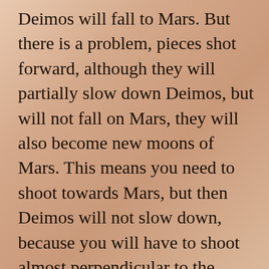Deimos will fall to Mars. But there is a problem, pieces shot forward, although they will partially slow down Deimos, but will not fall on Mars, they will also become new moons of Mars. This means you need to shoot towards Mars, but then Deimos will not slow down, because you will have to shoot almost perpendicular to the direction of movement. But here Phobos will help us, we will use the gravity of Phobos to turn the pieces towards